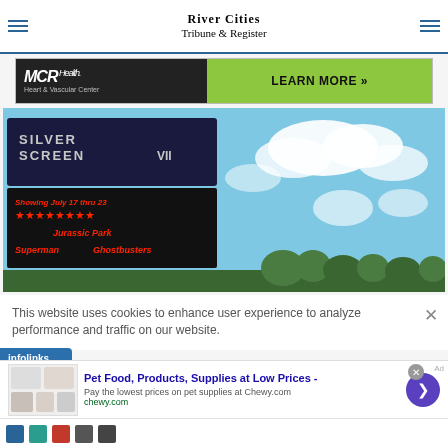River Cities Tribune & Register
[Figure (photo): MCR Health Heart & Vascular Center advertisement banner with dark left panel and green LEARN MORE button on right]
[Figure (photo): Photo of Silver Screen VII drive-in theater sign showing 'Showing July 17 thru 23' with movies Jurassic Park, Superman, Ghostbusters against blue sky with clouds]
This website uses cookies to enhance user experience to analyze performance and traffic on our website.
[Figure (other): Infolinks advertisement badge and Chewy.com pet food ad with title: Pet Food, Products, Supplies at Low Prices - Pay the lowest prices on pet supplies at Chewy.com]
[Figure (other): Row of small advertisement thumbnail icons at bottom of page]